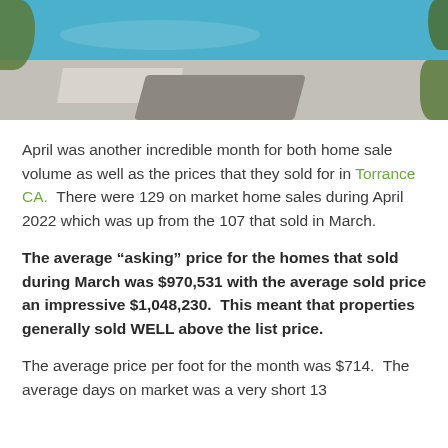[Figure (photo): Aerial/top-down view of a swimming pool with blue water and surrounding stone/concrete patio area, with greenery on the edges.]
April was another incredible month for both home sale volume as well as the prices that they sold for in Torrance CA.  There were 129 on market home sales during April 2022 which was up from the 107 that sold in March.
The average “asking” price for the homes that sold during March was $970,531 with the average sold price an impressive $1,048,230.  This meant that properties generally sold WELL above the list price.
The average price per foot for the month was $714.  The average days on market was a very short 13